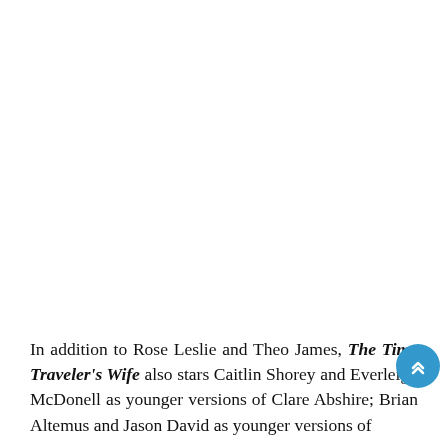In addition to Rose Leslie and Theo James, The Time Traveler's Wife also stars Caitlin Shorey and Everleigh McDonell as younger versions of Clare Abshire; Brian Altemus and Jason David as younger versions of